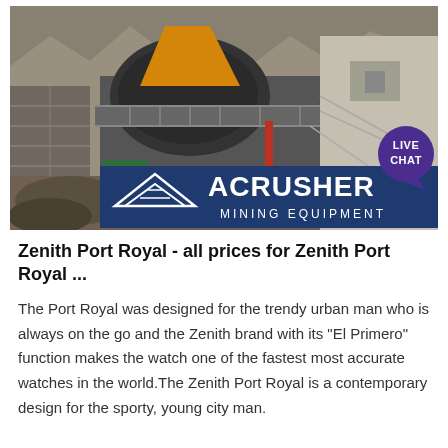[Figure (photo): Mining equipment / crusher machinery at a quarry site, with an ACRUSHER MINING EQUIPMENT logo overlay at the bottom of the image. A 'LIVE CHAT' badge appears in the upper right corner.]
Zenith Port Royal - all prices for Zenith Port Royal ...
The Port Royal was designed for the trendy urban man who is always on the go and the Zenith brand with its "El Primero" function makes the watch one of the fastest most accurate watches in the world.The Zenith Port Royal is a contemporary design for the sporty, young city man.